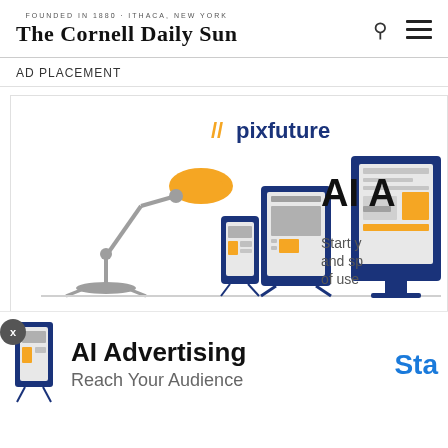The Cornell Daily Sun
AD PLACEMENT
[Figure (illustration): pixfuture AI Advertising banner ad showing a desk lamp, tablet, phone, and monitor with placeholder ad layouts. Text reads: //pixfuture, AI A[dvertising], Start y[our campaign] and s[pread to millions] of use[rs]]
[Figure (illustration): Bottom overlay banner ad: AI Advertising - Reach Your Audience, with Sta[rt] button in blue]
AI Advertising
Reach Your Audience